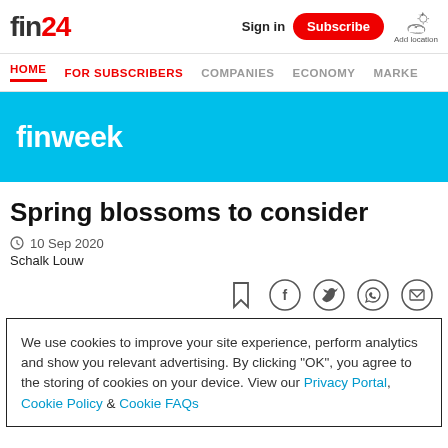fin24 | Sign in | Subscribe | Add location
HOME | FOR SUBSCRIBERS | COMPANIES | ECONOMY | MARKE
[Figure (logo): finweek logo on cyan/light-blue banner background]
Spring blossoms to consider
10 Sep 2020
Schalk Louw
We use cookies to improve your site experience, perform analytics and show you relevant advertising. By clicking "OK", you agree to the storing of cookies on your device. View our Privacy Portal, Cookie Policy & Cookie FAQs